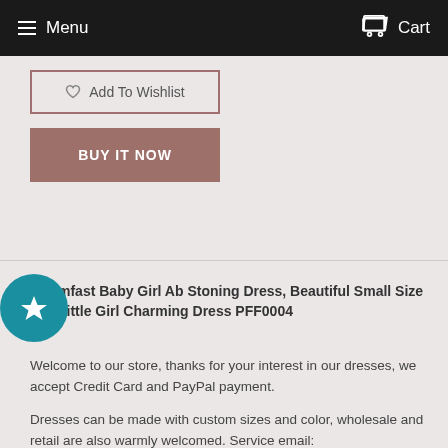Menu  Cart
Add To Wishlist
BUY IT NOW
mfast Baby Girl Ab Stoning Dress, Beautiful Small Size Little Girl Charming Dress PFF0004
Welcome to our store, thanks for your interest in our dresses, we accept Credit Card and PayPal payment.
Dresses can be made with custom sizes and color, wholesale and retail are also warmly welcomed. Service email: promfast@hotmail.com or merrychrice@gmail.com